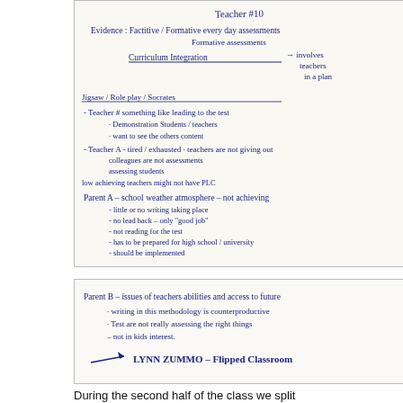[Figure (photo): Photo of handwritten notes on whiteboard/paper. Text reads: Teacher #10. Evidence: Factitive / Formative every day assessments, Formative assessments. Curriculum Integration → involves teachers in a plan. Jigsaw / Role play / Socrates. Teacher #: something like leading to the test. Demonstration Students / teachers. want to see the others content. Teacher A - tired / exhausted - teachers are not giving out assessments. colleagues are not assessing students. low achieving teachers might not have PLC. Parent A - school weather atmosphere - not achieving. little or no writing taking place. no lead back - only 'good job'. not reading for the test. has to be prepared for high school / university. should be implemented.]
[Figure (photo): Photo of handwritten notes. Text reads: Parent B - issues of teachers abilities and access to future. writing in this methodology is counterproductive. Test are not really assessing the right things. not in kids interest. Also: LYNN ZUMMO - Flipped Classroom.]
During the second half of the class we split